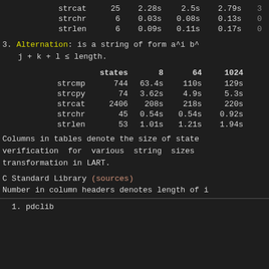|  | states | 8 | 64 | 1024+ |
| --- | --- | --- | --- | --- |
| strcat | 25 | 2.28s | 2.5s | 2.79s |
| strchr | 6 | 0.03s | 0.08s | 0.13s |
| strlen | 6 | 0.09s | 0.11s | 0.17s |
3. Alternation: is a string of form a^i b^... j + k + l ≤ length.
|  | states | 8 | 64 | 1024 |
| --- | --- | --- | --- | --- |
| strcmp | 744 | 63.4s | 110s | 129s |
| strcpy | 74 | 3.62s | 4.9s | 5.3s |
| strcat | 2406 | 208s | 218s | 220s |
| strchr | 45 | 0.54s | 0.54s | 0.92s |
| strlen | 53 | 1.01s | 1.21s | 1.94s |
Columns in tables denote the size of state... verification for various string sizes... transformation in LART.
C Standard Library (sources)
Number in column headers denotes length of i...
1. pdclib